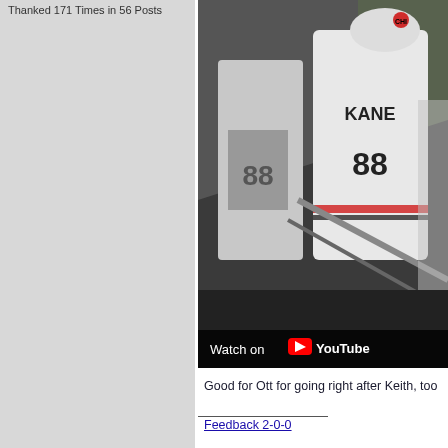Thanked 171 Times in 56 Posts
[Figure (screenshot): Screenshot of a YouTube video thumbnail showing a hockey player wearing a Kane #88 Chicago Blackhawks jersey walking through what appears to be a tunnel or corridor. A 'Watch on YouTube' overlay is visible at the bottom.]
Good for Ott for going right after Keith, too
Feedback 2-0-0